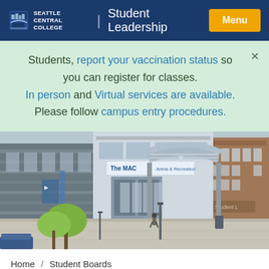Seattle Central College | Student Leadership | Menu
Students, report your vaccination status so you can register for classes. In person and Virtual services are available. Please follow campus entry procedures.
[Figure (photo): Aerial view of Seattle Central College campus courtyard showing The MAC building with an arched canopy entrance, trees, and students walking across the plaza.]
Home / Student Boards